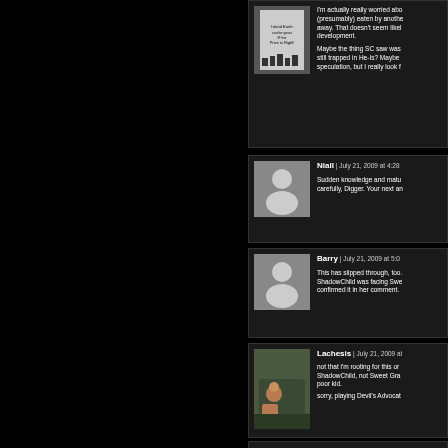[Figure (screenshot): Blog comment section showing multiple user comments on a dark background. Partial view of right side of page.]
I'm actually really worried abo... (presumably) eaten by anothe... away. That doesn't seem likel... development.

Maybe the thing SC saw wa... still trapped in He-Is? Maybe... speculation, but I really look f...
Niall | July 21, 2009 at 4:28
Sudden knowledge and matu... carefully, Digger. Your next an...
Barry | July 21, 2009 at 5:0...
This has slipped through, too... ShadowChild was facing Swe... confirmed it in her comment.
Lachesis | July 21, 2009 at...
not that i'm rooting for this or... ShadowChild, not Sweet Gra... poor kid.

sorry, playing Devil's Advocat...
Ahao | July 21, 2009 5:0...